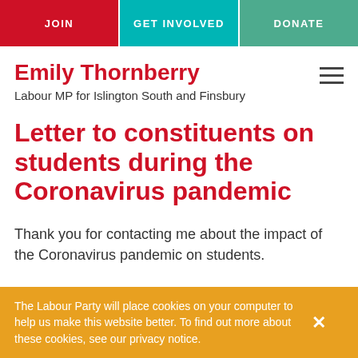JOIN | GET INVOLVED | DONATE
Emily Thornberry
Labour MP for Islington South and Finsbury
Letter to constituents on students during the Coronavirus pandemic
Thank you for contacting me about the impact of the Coronavirus pandemic on students.
The Labour Party will place cookies on your computer to help us make this website better. To find out more about these cookies, see our privacy notice.